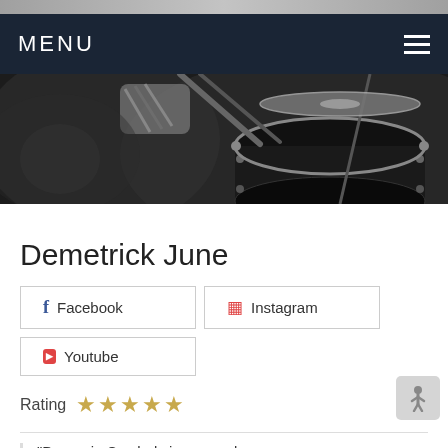MENU
[Figure (photo): Black and white photo of a drummer playing drums, showing drum kit hardware and cymbals up close]
Demetrick June
Facebook
Instagram
Youtube
Rating ★★★★★
"Domeain Cymbols is a sound